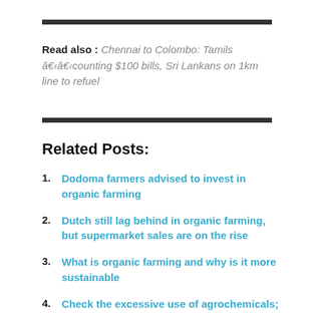Read also : Chennai to Colombo: Tamils â€‹â€‹counting $100 bills, Sri Lankans on 1km line to refuel
Related Posts:
Dodoma farmers advised to invest in organic farming
Dutch still lag behind in organic farming, but supermarket sales are on the rise
What is organic farming and why is it more sustainable
Check the excessive use of agrochemicals; need to promote organic farming: Tomar